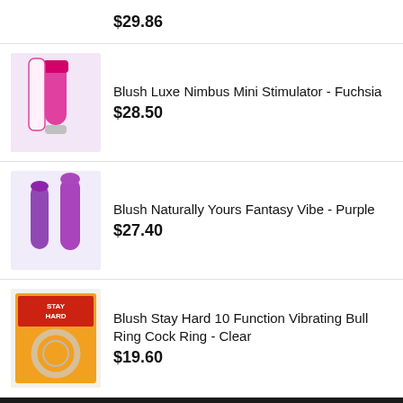$29.86
[Figure (photo): Product image placeholder - Blush Luxe Nimbus Mini Stimulator Fuchsia]
Blush Luxe Nimbus Mini Stimulator - Fuchsia
$28.50
[Figure (photo): Product image placeholder - Blush Naturally Yours Fantasy Vibe Purple]
Blush Naturally Yours Fantasy Vibe - Purple
$27.40
[Figure (photo): Product image placeholder - Blush Stay Hard 10 Function Vibrating Bull Ring Cock Ring Clear]
Blush Stay Hard 10 Function Vibrating Bull Ring Cock Ring - Clear
$19.60
This website and the products sold on this website are intended solely for adults. If you are not 18 years of age or older (21 in some states) please leave this site immediately. All models depicted herein were at least 18 years of age at the time of photography or filming as represented by our suppliers. 18 U.S.C Section 2257 Compliance Notice All Rights Reserved.